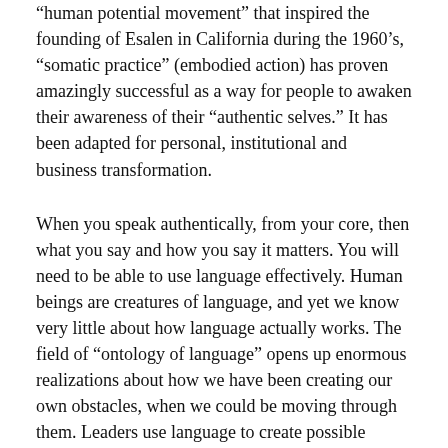“human potential movement” that inspired the founding of Esalen in California during the 1960’s, “somatic practice” (embodied action) has proven amazingly successful as a way for people to awaken their awareness of their “authentic selves.” It has been adapted for personal, institutional and business transformation.
When you speak authentically, from your core, then what you say and how you say it matters. You will need to be able to use language effectively. Human beings are creatures of language, and yet we know very little about how language actually works. The field of “ontology of language” opens up enormous realizations about how we have been creating our own obstacles, when we could be moving through them. Leaders use language to create possible futures and then have them realized.